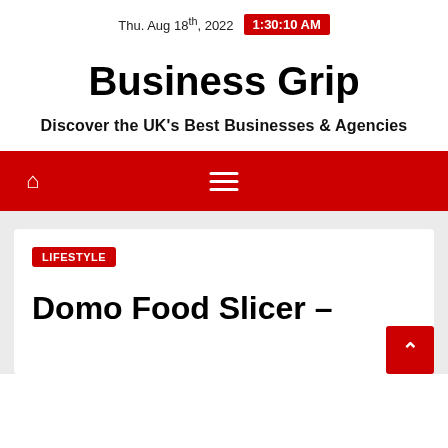Thu. Aug 18th, 2022  1:30:10 AM
Business Grip
Discover the UK's Best Businesses & Agencies
[Figure (other): Red navigation bar with home icon and hamburger menu]
LIFESTYLE
Domo Food Slicer –